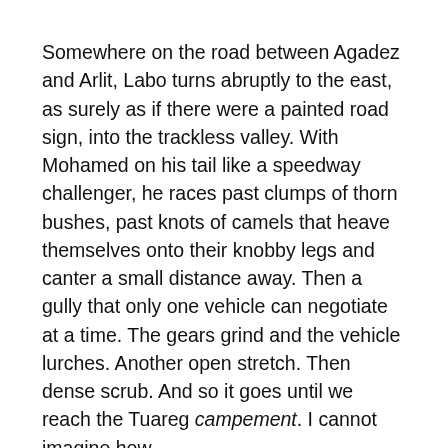Somewhere on the road between Agadez and Arlit, Labo turns abruptly to the east, as surely as if there were a painted road sign, into the trackless valley. With Mohamed on his tail like a speedway challenger, he races past clumps of thorn bushes, past knots of camels that heave themselves onto their knobby legs and canter a small distance away. Then a gully that only one vehicle can negotiate at a time. The gears grind and the vehicle lurches. Another open stretch. Then dense scrub. And so it goes until we reach the Tuareg campement. I cannot imagine how.
We set up tents in the dark, eat our first meal en brousse by the light of the fire and the moon. Children begin drifting in, and then the teenage